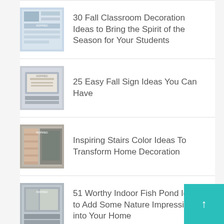30 Fall Classroom Decoration Ideas to Bring the Spirit of the Season for Your Students
25 Easy Fall Sign Ideas You Can Have
Inspiring Stairs Color Ideas To Transform Home Decoration
51 Worthy Indoor Fish Pond Ideas to Add Some Nature Impression into Your Home